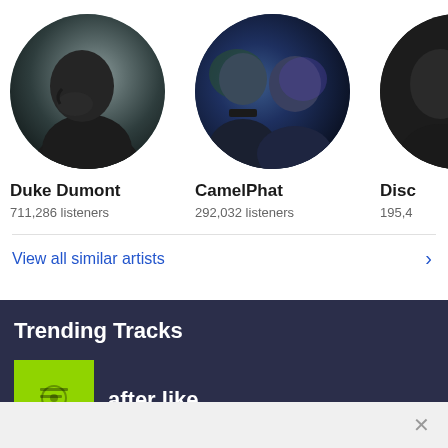[Figure (photo): Circular profile photo of Duke Dumont, side profile facing left, wearing black t-shirt against dark gray background]
Duke Dumont
711,286 listeners
[Figure (photo): Circular profile photo of CamelPhat, two men in dark setting with colored lighting]
CamelPhat
292,032 listeners
[Figure (photo): Partial circular photo of third artist (Disc...) cut off at right edge]
Disc
195,4
View all similar artists
Trending Tracks
[Figure (photo): Green album art thumbnail with small icon]
after like